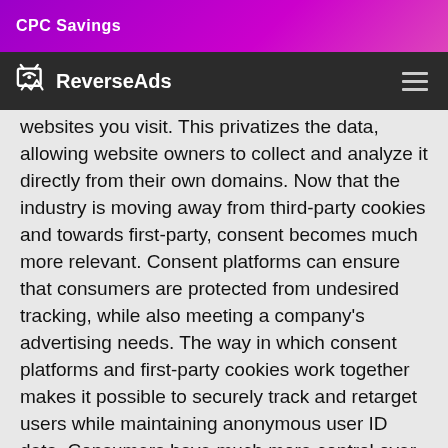CPC Savings
[Figure (logo): ReverseAds logo with navigation bar on dark background]
websites you visit. This privatizes the data, allowing website owners to collect and analyze it directly from their own domains. Now that the industry is moving away from third-party cookies and towards first-party, consent becomes much more relevant. Consent platforms can ensure that consumers are protected from undesired tracking, while also meeting a company's advertising needs. The way in which consent platforms and first-party cookies work together makes it possible to securely track and retarget users while maintaining anonymous user ID data. Consumers have much more control over the safety of their experience, and businesses are figuring out how to safely track these users in a compliant and consent driven way.